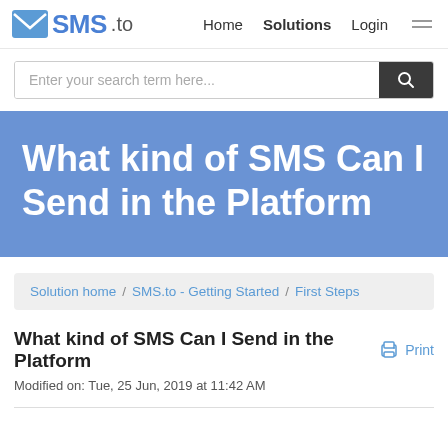SMS.to — Home  Solutions  Login
Enter your search term here...
What kind of SMS Can I Send in the Platform
Solution home / SMS.to - Getting Started / First Steps
What kind of SMS Can I Send in the Platform
Modified on: Tue, 25 Jun, 2019 at 11:42 AM